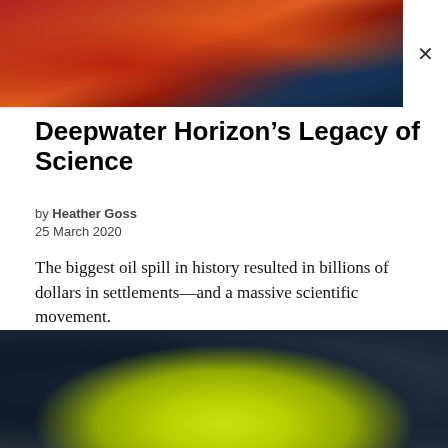[Figure (photo): Top portion of article header image showing red/orange flowing material (possibly oil or coral) against dark blue background, with an X close button on the right]
Deepwater Horizon’s Legacy of Science
by Heather Goss
25 March 2020
The biggest oil spill in history resulted in billions of dollars in settlements—and a massive scientific movement.
[Figure (photo): Bottom portion showing a yellow scientific instrument or buoy against a dark underwater or debris background]